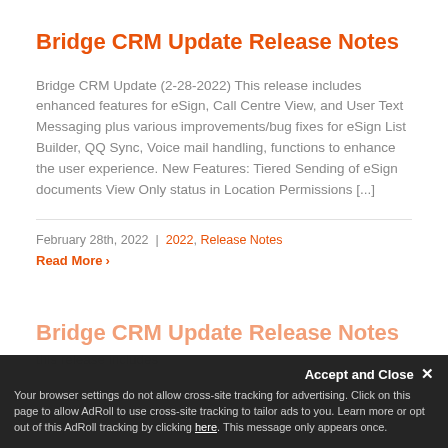Bridge CRM Update Release Notes
Bridge CRM Update (2-28-2022) This release includes enhanced features for eSign, Call Centre View, and User Text Messaging plus various improvements/bug fixes for eSign List Builder, QQ Sync, Voice mail handling, functions to enhance the user experience. New Features: Tiered Sending of eSign documents View Only status in Location Permissions [...]
February 28th, 2022  |  2022, Release Notes
Read More ›
Bridge CRM Update Release Notes
this release includes
Accept and Close ×
Your browser settings do not allow cross-site tracking for advertising. Click on this page to allow AdRoll to use cross-site tracking to tailor ads to you. Learn more or opt out of this AdRoll tracking by clicking here. This message only appears once.